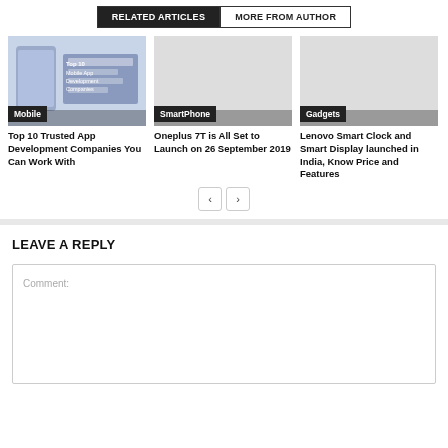RELATED ARTICLES | MORE FROM AUTHOR
[Figure (screenshot): Thumbnail image showing mobile app development companies graphic with blue tones and device icons]
Mobile
Top 10 Trusted App Development Companies You Can Work With
SmartPhone
Oneplus 7T is All Set to Launch on 26 September 2019
Gadgets
Lenovo Smart Clock and Smart Display launched in India, Know Price and Features
LEAVE A REPLY
Comment: